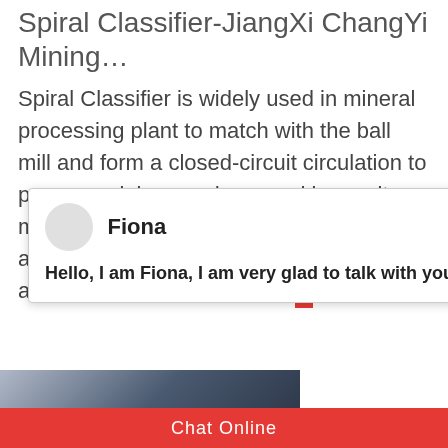Spiral Classifier-Jiangxi Changyi Mining…
Spiral Classifier is widely used in mineral processing plant to match with the ball mill and form a closed-circuit circulation to process mining sand, or used in gravity mine-selection plant for classifying sand and mine mud, and grading sand according to…
[Figure (screenshot): Chat popup overlay with avatar circle, agent name 'Fiona', greeting message 'Hello, I am Fiona, I am very glad to talk with you!', and a close (×) button in top-right corner.]
[Figure (photo): Industrial mining machinery equipment photo, blue-grey tones, heavy machinery components visible. On the right side, a customer service agent photo with headset, a notification badge showing '1', 'Need questions & suggestion?' text, and a red 'Chat Now' button.]
Chat Online
Enquire